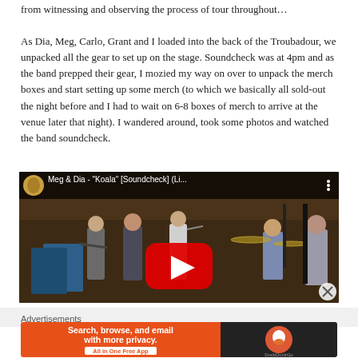from witnessing and observing the process of tour throughout…
As Dia, Meg, Carlo, Grant and I loaded into the back of the Troubadour, we unpacked all the gear to set up on the stage. Soundcheck was at 4pm and as the band prepped their gear, I mozied my way on over to unpack the merch boxes and start setting up some merch (to which we basically all sold-out the night before and I had to wait on 6-8 boxes of merch to arrive at the venue later that night). I wandered around, took some photos and watched the band soundcheck.
[Figure (screenshot): YouTube video thumbnail showing Meg & Dia - "Koala" [Soundcheck] (Li... with band members on stage during soundcheck, featuring a red play button overlay]
Advertisements
[Figure (other): DuckDuckGo advertisement banner: 'Search, browse, and email with more privacy. All in One Free App' on orange background with DuckDuckGo logo on dark background]